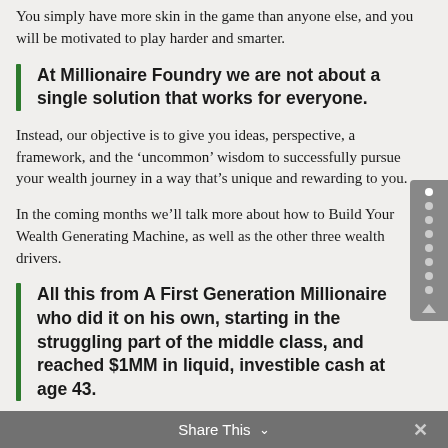You simply have more skin in the game than anyone else, and you will be motivated to play harder and smarter.
At Millionaire Foundry we are not about a single solution that works for everyone.
Instead, our objective is to give you ideas, perspective, a framework, and the ‘uncommon’ wisdom to successfully pursue your wealth journey in a way that’s unique and rewarding to you.
In the coming months we’ll talk more about how to Build Your Wealth Generating Machine, as well as the other three wealth drivers.
All this from A First Generation Millionaire who did it on his own, starting in the struggling part of the middle class, and reached $1MM in liquid, investible cash at age 43.
Share This